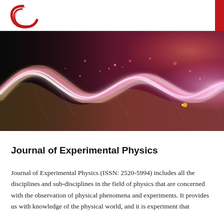Journal of Experimental Physics — logo header
[Figure (photo): Abstract physics wave illustration showing colorful glowing sinusoidal waves on a dark background, transitioning from golden/brown on the left to pink/red/white on the right with particle effects.]
Journal of Experimental Physics
Journal of Experimental Physics (ISSN: 2520-5994) includes all the disciplines and sub-disciplines in the field of physics that are concerned with the observation of physical phenomena and experiments. It provides us with knowledge of the physical world, and it is experiment that